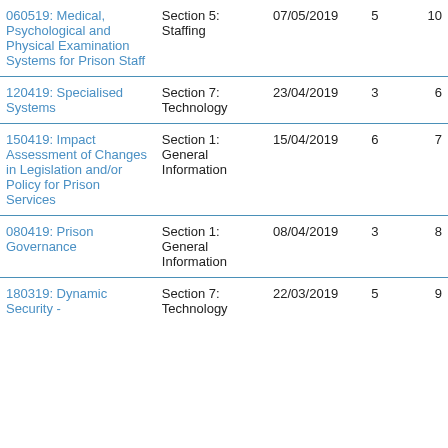| 060519: Medical, Psychological and Physical Examination Systems for Prison Staff | Section 5: Staffing | 07/05/2019 | 5 | 10 |
| 120419: Specialised Systems | Section 7: Technology | 23/04/2019 | 3 | 6 |
| 150419: Impact Assessment of Changes in Legislation and/or Policy for Prison Services | Section 1: General Information | 15/04/2019 | 6 | 7 |
| 080419: Prison Governance | Section 1: General Information | 08/04/2019 | 3 | 8 |
| 180319: Dynamic Security - | Section 7: Technology | 22/03/2019 | 5 | 9 |